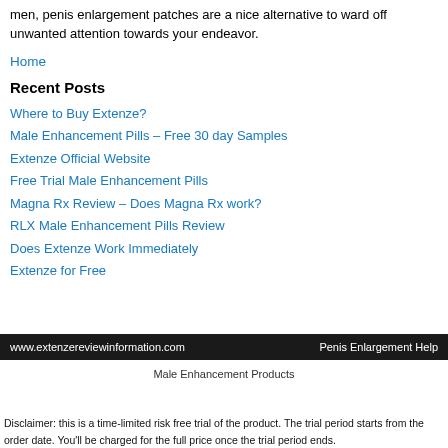men, penis enlargement patches are a nice alternative to ward off unwanted attention towards your endeavor.
Home
Recent Posts
Where to Buy Extenze?
Male Enhancement Pills – Free 30 day Samples
Extenze Official Website
Free Trial Male Enhancement Pills
Magna Rx Review – Does Magna Rx work?
RLX Male Enhancement Pills Review
Does Extenze Work Immediately
Extenze for Free
www.extenzereviewinformation.com    Penis Enlargement Help
Male Enhancement Products
Disclaimer: this is a time-limited risk free trial of the product. The trial period starts from the order date. You'll be charged for the full price once the trial period ends.